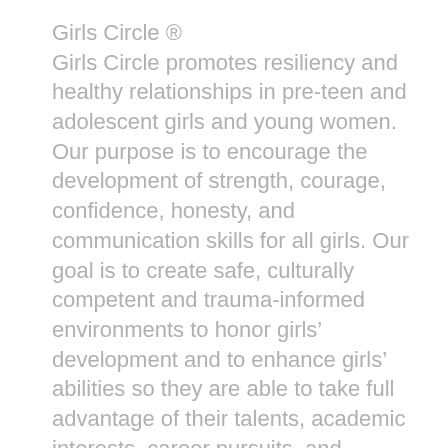Girls Circle ®
Girls Circle promotes resiliency and healthy relationships in pre-teen and adolescent girls and young women. Our purpose is to encourage the development of strength, courage, confidence, honesty, and communication skills for all girls. Our goal is to create safe, culturally competent and trauma-informed environments to honor girls' development and to enhance girls' abilities so they are able to take full advantage of their talents, academic interests, career pursuits, and potential for healthy relationships. Girls Circles are uniquely positioned to address and challenge cultural messages that limit and distort girls' self-image and values.